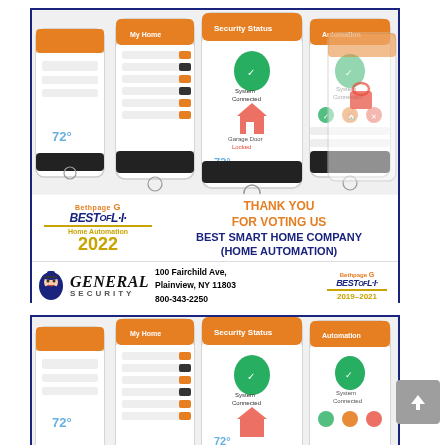[Figure (screenshot): Top advertisement for General Security showing smart home app screenshots on multiple phones, with Best of LI 2022 award badge, 'Thank You For Voting Us Best Smart Home Company (Home Automation)' text, General Security logo, address 100 Fairchild Ave, Plainview, NY 11803, phone 800-343-2250, and Best of LI 2019-2021 badge]
[Figure (screenshot): Bottom partial advertisement for General Security showing the same smart home app screenshots on multiple phones (partial view, cropped)]